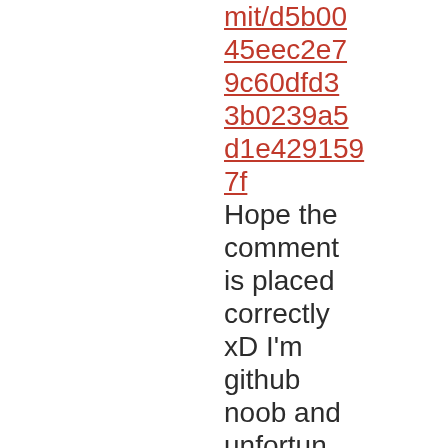mit/d5b0045eec2e79c60dfd33b0239a5d1e4291597f
Hope the comment is placed correctly xD I'm github noob and unfortunately I can't code